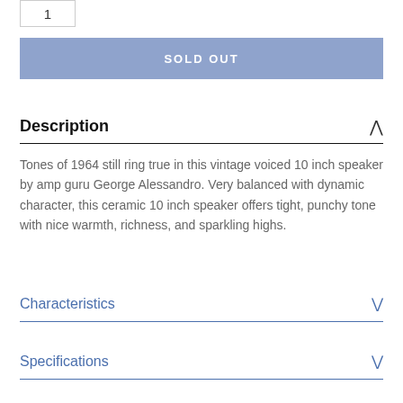1
SOLD OUT
Description
Tones of 1964 still ring true in this vintage voiced 10 inch speaker by amp guru George Alessandro. Very balanced with dynamic character, this ceramic 10 inch speaker offers tight, punchy tone with nice warmth, richness, and sparkling highs.
Characteristics
Specifications